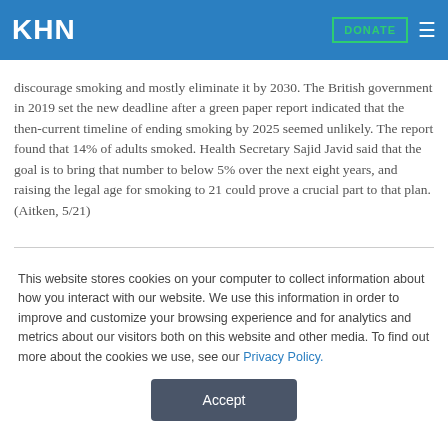KHN  DONATE
discourage smoking and mostly eliminate it by 2030. The British government in 2019 set the new deadline after a green paper report indicated that the then-current timeline of ending smoking by 2025 seemed unlikely. The report found that 14% of adults smoked. Health Secretary Sajid Javid said that the goal is to bring that number to below 5% over the next eight years, and raising the legal age for smoking to 21 could prove a crucial part to that plan. (Aitken, 5/21)
This website stores cookies on your computer to collect information about how you interact with our website. We use this information in order to improve and customize your browsing experience and for analytics and metrics about our visitors both on this website and other media. To find out more about the cookies we use, see our Privacy Policy.
Accept